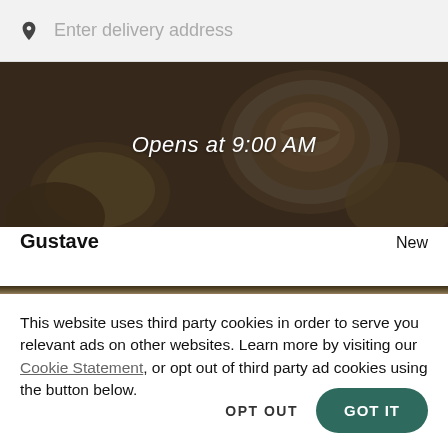Enter delivery address
[Figure (photo): Dark restaurant hero image showing food dishes on plates with a dark overlay. Text overlay reads 'Opens at 9:00 AM'.]
Opens at 9:00 AM
Gustave
New
This website uses third party cookies in order to serve you relevant ads on other websites. Learn more by visiting our Cookie Statement, or opt out of third party ad cookies using the button below.
OPT OUT
GOT IT